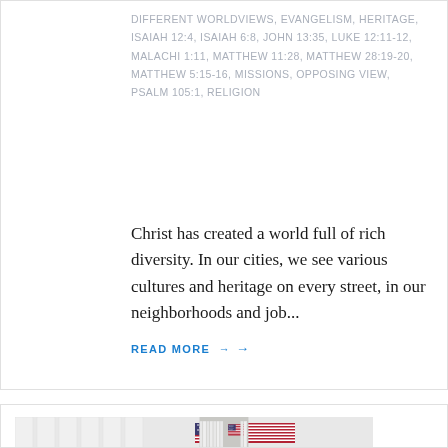DIFFERENT WORLDVIEWS, EVANGELISM, HERITAGE, ISAIAH 12:4, ISAIAH 6:8, JOHN 13:35, LUKE 12:11-12, MALACHI 1:11, MATTHEW 11:28, MATTHEW 28:19-20, MATTHEW 5:15-16, MISSIONS, OPPOSING VIEW, PSALM 105:1, RELIGION
Christ has created a world full of rich diversity. In our cities, we see various cultures and heritage on every street, in our neighborhoods and job...
READ MORE →
[Figure (photo): Photo of an American flag displayed in an interior space with white vertical elements, likely voting booths or stalls, visible in the foreground.]